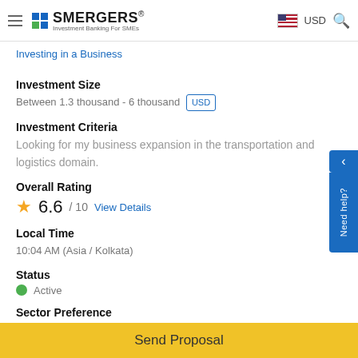SMERGERS® Investment Banking For SMEs | USD
Investing in a Business
Investment Size
Between 1.3 thousand - 6 thousand USD
Investment Criteria
Looking for my business expansion in the transportation and logistics domain.
Overall Rating
6.6 / 10 View Details
Local Time
10:04 AM (Asia / Kolkata)
Status
Active
Sector Preference
Logistics
Send Proposal